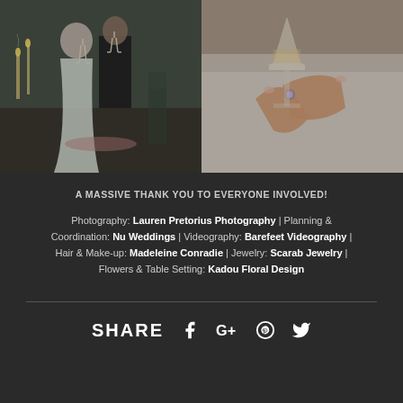[Figure (photo): Two wedding photos side by side: left shows bride in white gown and groom in tuxedo toasting with champagne at a decorated table with candles; right shows close-up of bride's hands holding a crystal champagne glass with a diamond ring visible.]
A MASSIVE THANK YOU TO EVERYONE INVOLVED!
Photography: Lauren Pretorius Photography | Planning & Coordination: Nu Weddings | Videography: Barefeet Videography | Hair & Make-up: Madeleine Conradie | Jewelry: Scarab Jewelry | Flowers & Table Setting: Kadou Floral Design
SHARE